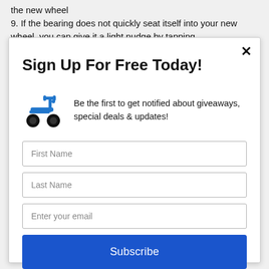the new wheel
9. If the bearing does not quickly seat itself into your new wheel, you can give it a light nudge by tapping
Sign Up For Free Today!
[Figure (illustration): Blue scooter / kick-scooter icon illustration]
Be the first to get notified about giveaways, special deals & updates!
First Name
Last Name
Enter your email
Subscribe